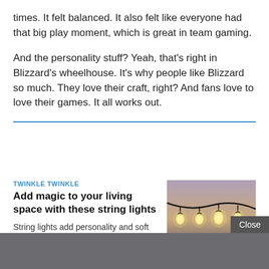times. It felt balanced. It also felt like everyone had that big play moment, which is great in team gaming.
And the personality stuff? Yeah, that's right in Blizzard's wheelhouse. It's why people like Blizzard so much. They love their craft, right? And fans love to love their games. It all works out.
TWINKLE TWINKLE
Add magic to your living space with these string lights
String lights add personality and soft light to your living space. Here are some of the best.
[Figure (photo): Photograph of string lights with Edison-style bulbs hanging against a dusk sky background]